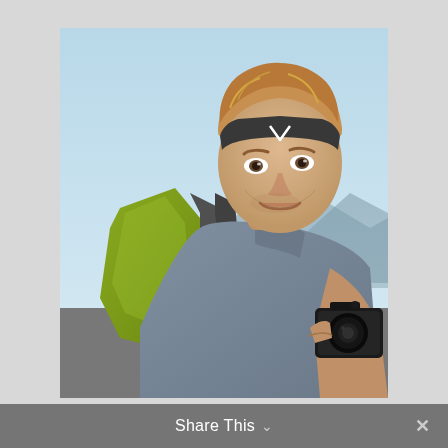[Figure (photo): A young man with blonde-reddish hair wearing a dark grey headband and grey t-shirt, smiling over his shoulder. He carries a yellow-green hiking backpack and holds a DSLR camera in his right hand. The background shows a light blue sky and mountain silhouettes.]
Share This ∨  ✕